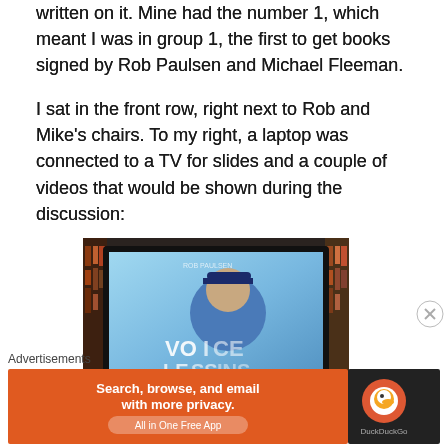written on it. Mine had the number 1, which meant I was in group 1, the first to get books signed by Rob Paulsen and Michael Fleeman.
I sat in the front row, right next to Rob and Mike’s chairs. To my right, a laptop was connected to a TV for slides and a couple of videos that would be shown during the discussion:
[Figure (photo): A TV screen displaying what appears to be a book cover or promotional image for 'Voice Lessons' by Rob Paulsen, shown against a backdrop of bookshelves.]
Advertisements
[Figure (screenshot): DuckDuckGo advertisement banner: 'Search, browse, and email with more privacy. All in One Free App' with DuckDuckGo logo on dark background.]